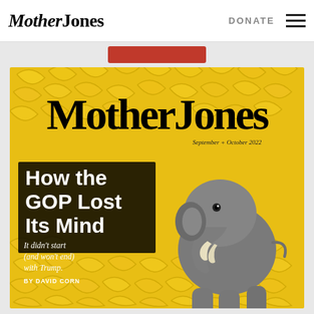Mother Jones  DONATE
[Figure (illustration): Mother Jones magazine cover for September + October 2022. Background filled with yellow bananas. Large black 'MotherJones' masthead at top. Baby elephant sitting among bananas on right side. Text overlay on left: 'How the GOP Lost Its Mind' with subhead 'It didn't start (and won't end) with Trump.' By David Corn.]